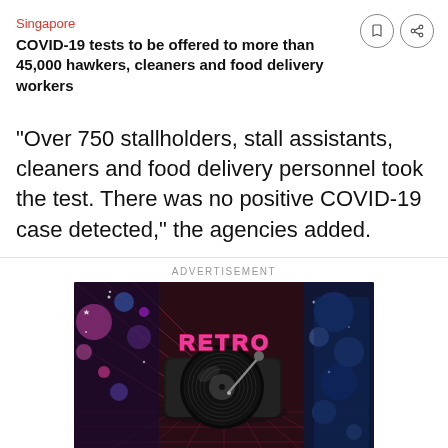Singapore
COVID-19 tests to be offered to more than 45,000 hawkers, cleaners and food delivery workers
"Over 750 stallholders, stall assistants, cleaners and food delivery personnel took the test. There was no positive COVID-19 case detected," the agencies added.
ADVERTISEMENT
[Figure (photo): Advertisement image showing a retro vinyl record player with pink neon 'RETRO' text, colorful bokeh background on left and blue abstract pattern on right]